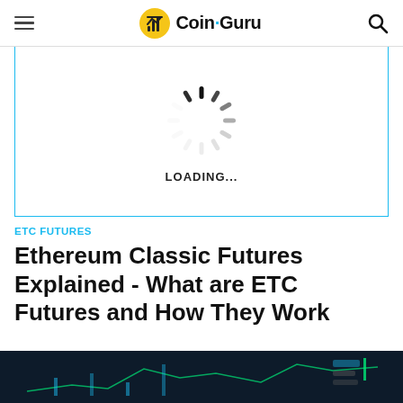Coin Guru
[Figure (screenshot): Loading spinner animation with 'LOADING...' text below, shown inside a bordered content box]
ETC FUTURES
Ethereum Classic Futures Explained - What are ETC Futures and How They Work
[Figure (screenshot): Dark background image showing cryptocurrency chart/trading interface at the bottom of the page]